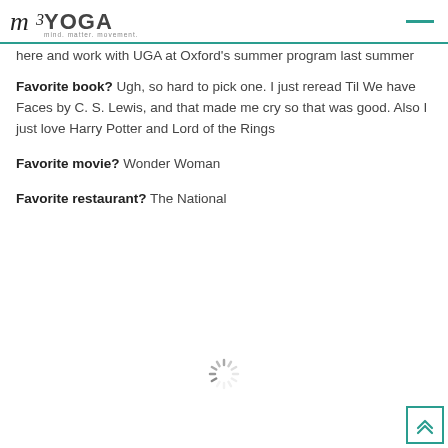m3YOGA mind. matter. movement.
here and work with UGA at Oxford's summer program last summer
Favorite book? Ugh, so hard to pick one. I just reread Til We have Faces by C. S. Lewis, and that made me cry so that was good. Also I just love Harry Potter and Lord of the Rings
Favorite movie? Wonder Woman
Favorite restaurant? The National
[Figure (other): Loading spinner icon (animated loading indicator circle)]
[Figure (other): Back to top button with double chevron up arrow in teal border]